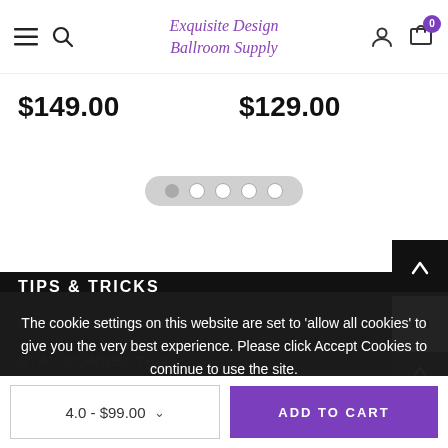Exquisite Design Ballroom Supply
$149.00   $129.00
[Figure (other): Carousel pagination dots — 5 circles, first filled]
TIPS & TRICKS
CUSTOMER SERVICE
STAY CONNECTED
The cookie settings on this website are set to 'allow all cookies' to give you the very best experience. Please click Accept Cookies to continue to use the site.
PRIVACY POLICY   ACCEPT ✔
4.0 - $99.00   ADD TO CART